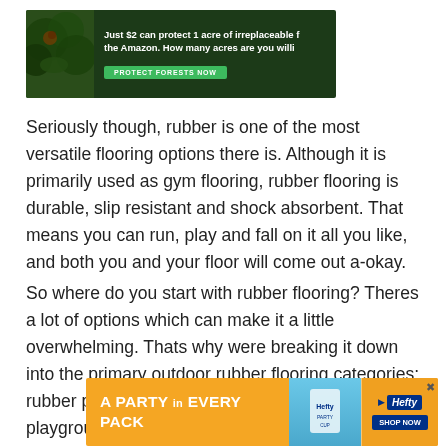[Figure (infographic): Green/dark jungle themed advertisement: 'Just $2 can protect 1 acre of irreplaceable f[orest in] the Amazon. How many acres are you willi[ng to protect?]' with a green 'PROTECT FORESTS NOW' button]
Seriously though, rubber is one of the most versatile flooring options there is. Although it is primarily used as gym flooring, rubber flooring is durable, slip resistant and shock absorbent. That means you can run, play and fall on it all you like, and both you and your floor will come out a-okay.
So where do you start with rubber flooring? Theres a lot of options which can make it a little overwhelming. Thats why were breaking it down into the primary outdoor rubber flooring categories: rubber pavers, rubber tiles/rolls and rubber playground flooring.
[Figure (infographic): Orange Hefty brand advertisement: 'A PARTY in EVERY PACK' with Hefty party cup image and 'SHOP NOW' button]